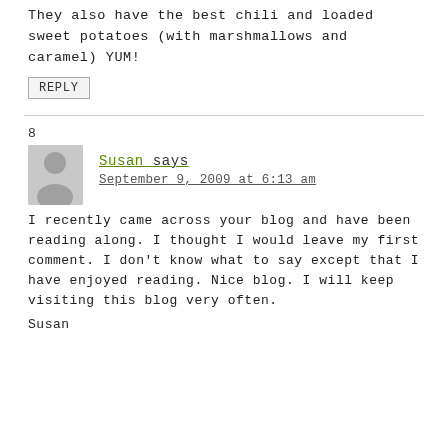They also have the best chili and loaded sweet potatoes (with marshmallows and caramel) YUM!
REPLY
8
[Figure (illustration): Gray avatar placeholder image of a person silhouette]
Susan says
September 9, 2009 at 6:13 am
I recently came across your blog and have been reading along. I thought I would leave my first comment. I don't know what to say except that I have enjoyed reading. Nice blog. I will keep visiting this blog very often.
Susan